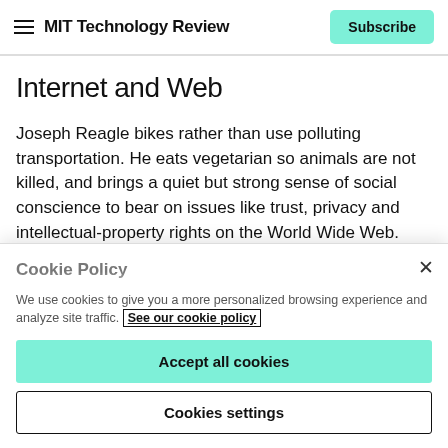MIT Technology Review | Subscribe
Internet and Web
Joseph Reagle bikes rather than use polluting transportation. He eats vegetarian so animals are not killed, and brings a quiet but strong sense of social conscience to bear on issues like trust, privacy and intellectual-property rights on the World Wide Web. After
Cookie Policy
We use cookies to give you a more personalized browsing experience and analyze site traffic. See our cookie policy
Accept all cookies
Cookies settings